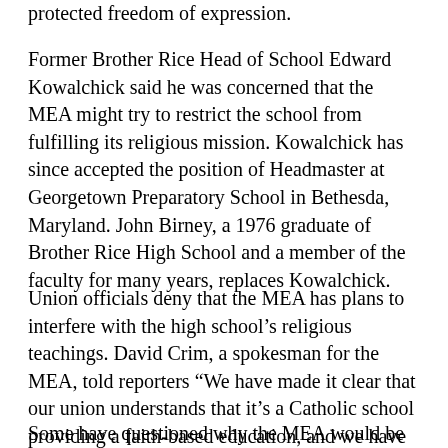protected freedom of expression.
Former Brother Rice Head of School Edward Kowalchick said he was concerned that the MEA might try to restrict the school from fulfilling its religious mission. Kowalchick has since accepted the position of Headmaster at Georgetown Preparatory School in Bethesda, Maryland. John Birney, a 1976 graduate of Brother Rice High School and a member of the faculty for many years, replaces Kowalchick.
Union officials deny that the MEA has plans to interfere with the high school’s religious teachings. David Crim, a spokesman for the MEA, told reporters “We have made it clear that our union understands that it’s a Catholic school providing a faith-based education, and we have no intention of changing that. We only seek to represent them as employees.”
Some have questioned why the MEA would be courting